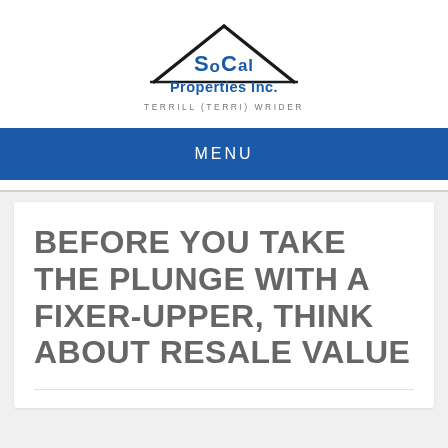[Figure (logo): SoCal Properties Inc. logo with house/roof outline and company name, along with 'TERRILL (TERRI) WRIDER' tagline]
MENU
BEFORE YOU TAKE THE PLUNGE WITH A FIXER-UPPER, THINK ABOUT RESALE VALUE